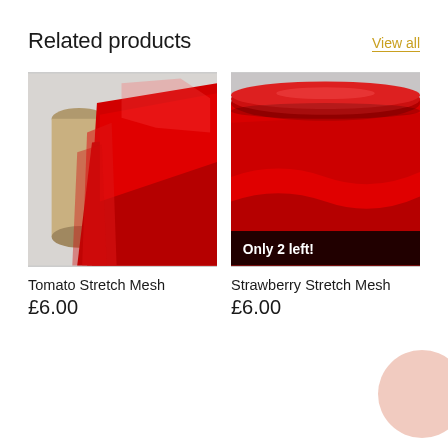Related products
View all
[Figure (photo): Roll of red stretch mesh fabric, Tomato Stretch Mesh]
Tomato Stretch Mesh
£6.00
[Figure (photo): Roll of red stretch mesh fabric, Strawberry Stretch Mesh, with 'Only 2 left!' badge overlay]
Strawberry Stretch Mesh
£6.00